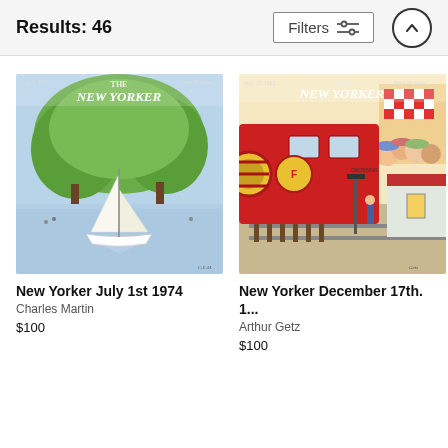Results: 46
Filters
[Figure (illustration): New Yorker magazine cover July 1st 1974 showing a sailboat on a blue lake with green trees in the background]
New Yorker July 1st 1974
Charles Martin
$100
[Figure (illustration): New Yorker magazine cover December 17th showing a red train at a railroad crossing with children watching and a small town in the background]
New Yorker December 17th. 1...
Arthur Getz
$100